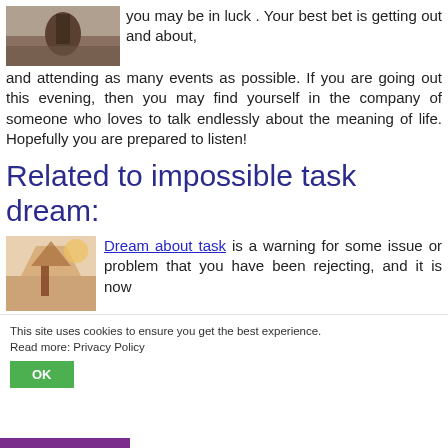[Figure (photo): Small thumbnail photo of a person or figure emerging from water or a dark scene]
you may be in luck . Your best bet is getting out and about, and attending as many events as possible. If you are going out this evening, then you may find yourself in the company of someone who loves to talk endlessly about the meaning of life. Hopefully you are prepared to listen!
Related to impossible task dream:
[Figure (photo): Small thumbnail photo with warm tones, appears to show a figure in a sunset or abstract scene]
Dream about task is a warning for some issue or problem that you have been rejecting, and it is now
This site uses cookies to ensure you get the best experience. Read more: Privacy Policy
OK